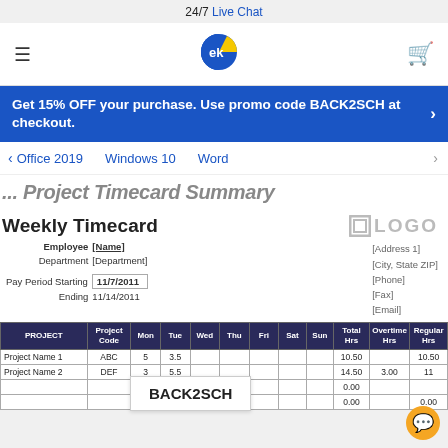24/7 Live Chat
[Figure (logo): EK logo - blue and yellow circular logo with letters EK]
Get 15% OFF your purchase. Use promo code BACK2SCH at checkout.
Office 2019  Windows 10  Word
... Project Timecard Summary
Weekly Timecard
[Figure (logo): LOGO placeholder text with box icon]
| Employee | Name | Address 1 | City State ZIP | Phone | Fax | Email | Department | Pay Period Starting | Ending |
| --- | --- | --- | --- | --- | --- | --- | --- | --- | --- |
| Employee | [Name] | [Address 1] |
| Department | [Department] | [City, State ZIP] |
|  |  | [Phone] |
| Pay Period Starting | 11/7/2011 | [Fax] |
| Ending | 11/14/2011 | [Email] |
| PROJECT | Project Code | Mon | Tue | Wed | Thu | Fri | Sat | Sun | Total Hrs | Overtime Hrs | Regular Hrs |
| --- | --- | --- | --- | --- | --- | --- | --- | --- | --- | --- | --- |
| Project Name 1 | ABC | 5 | 3.5 |  |  |  |  |  | 10.50 |  | 10.50 |
| Project Name 2 | DEF | 3 | 5.5 |  |  |  |  |  | 14.50 | 3.00 | 11 |
|  |  |  |  |  |  |  |  |  | 0.00 |  |  |
|  |  |  |  |  |  |  |  |  | 0.00 |  | 0.00 |
BACK2SCH